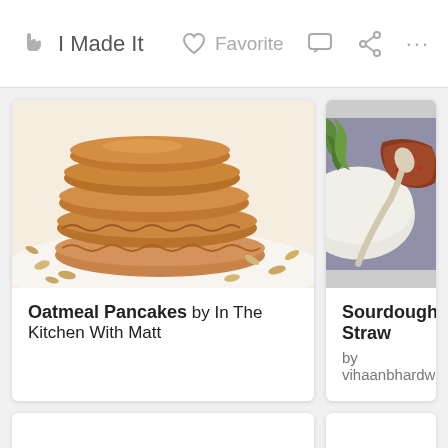I Made It   Favorite   ···
[Figure (photo): Stack of oatmeal pancakes with rolled oats scattered around on a white surface]
Oatmeal Pancakes by In The Kitchen With Matt
[Figure (photo): Sourdough strawberry item in a white bowl with green garnish, partially visible]
Sourdough Straw... by vihaanbhardwaj